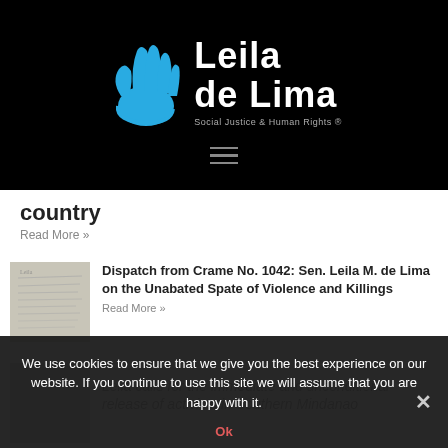[Figure (logo): Leila de Lima logo with blue hand graphic and tagline Social Justice & Human Rights]
[Figure (illustration): Hamburger menu icon (three horizontal lines)]
country
Read More »
[Figure (photo): Handwritten letter thumbnail image]
Dispatch from Crame No. 1042: Sen. Leila M. de Lima on the Unabated Spate of Violence and Killings
Read More »
Leila calls for the immediate and unconditional release of activists in Southern Mindanao
We use cookies to ensure that we give you the best experience on our website. If you continue to use this site we will assume that you are happy with it.
Ok